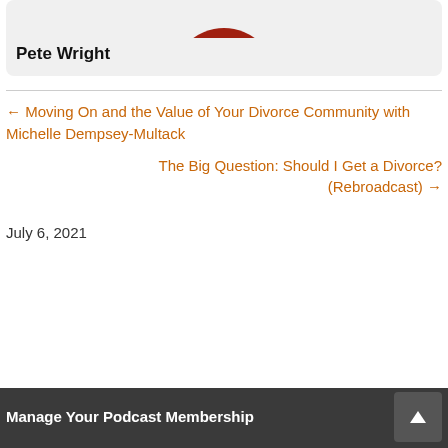[Figure (photo): Partial view of a red circular logo/image at the top of a card]
Pete Wright
← Moving On and the Value of Your Divorce Community with Michelle Dempsey-Multack
The Big Question: Should I Get a Divorce? (Rebroadcast) →
July 6, 2021
Manage Your Podcast Membership